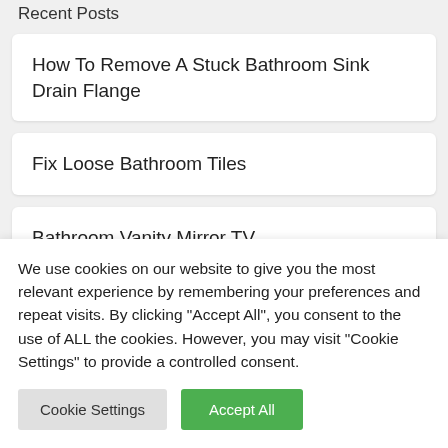Recent Posts
How To Remove A Stuck Bathroom Sink Drain Flange
Fix Loose Bathroom Tiles
Bathroom Vanity Mirror TV
18 Inch Bathroom Sink And Vanity Combo
We use cookies on our website to give you the most relevant experience by remembering your preferences and repeat visits. By clicking "Accept All", you consent to the use of ALL the cookies. However, you may visit "Cookie Settings" to provide a controlled consent.